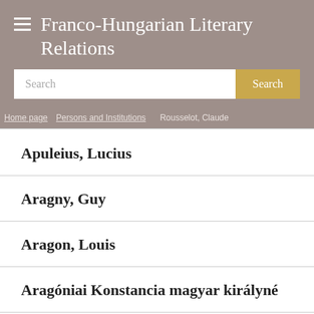Franco-Hungarian Literary Relations
Search
Home page / Persons and Institutions / Rousselot, Claude
Apuleius, Lucius
Aragny, Guy
Aragon, Louis
Aragóniai Konstancia magyar királyné